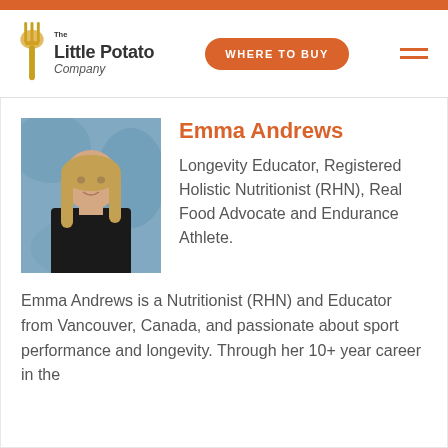The Little Potato Company — WHERE TO BUY
[Figure (photo): Photo of Emma Andrews, a woman with long blond hair wearing a black jacket, standing against a blue painted background.]
Emma Andrews
Longevity Educator, Registered Holistic Nutritionist (RHN), Real Food Advocate and Endurance Athlete.
Emma Andrews is a Nutritionist (RHN) and Educator from Vancouver, Canada, and passionate about sport performance and longevity. Through her 10+ year career in the